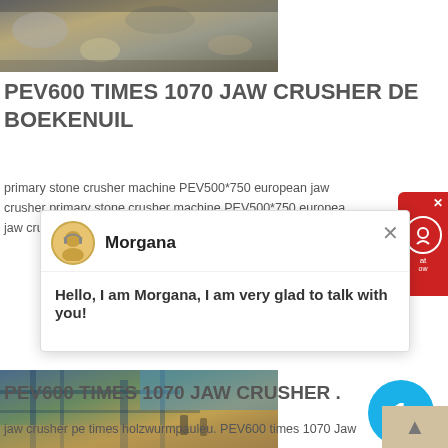[Figure (photo): Outdoor photo showing crushed stone or gravel at a mining/crushing site]
PEV600 TIMES 1070 JAW CRUSHER DE BOEKENUIL
primary stone crusher machine PEV500*750 european jaw crusher primary stone crusher machine PEV500*750 european jaw crusher  New  Jaw •On-time shipment and
[Figure (screenshot): Chat popup widget with avatar of Morgana. Header shows 'Morgana' with close button. Body text: 'Hello, I am Morgana, I am very glad to talk with you!']
[Figure (photo): Photo of a jaw crusher installation at a construction/mining site with workers and machinery]
PEV600 TIMES 1070 JAW CRUSHER .
jaw crusher pe times holzwurmpauleu. PEV600 times 1070 Jaw